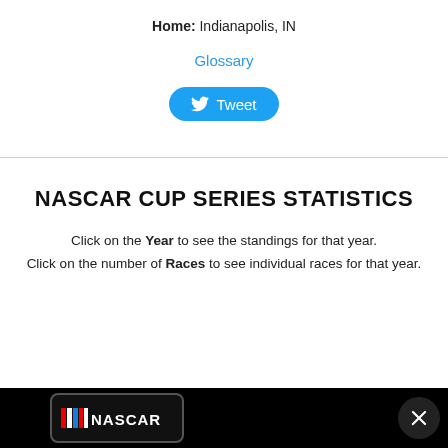Home: Indianapolis, IN
Glossary
[Figure (other): Twitter Tweet button with bird logo]
NASCAR CUP SERIES STATISTICS
Click on the Year to see the standings for that year. Click on the number of Races to see individual races for that year.
[Figure (logo): NASCAR logo in advertisement bar at bottom of page]